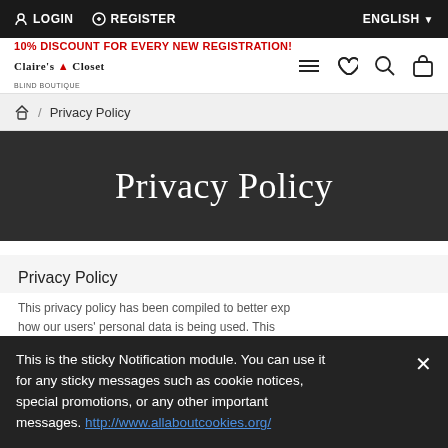LOGIN  REGISTER  ENGLISH
10% DISCOUNT FOR EVERY NEW REGISTRATION!
[Figure (logo): Claire's Closet logo with tagline]
Home / Privacy Policy
Privacy Policy
Privacy Policy
This privacy policy has been compiled to better exp how our users' personal data is being used. This Privacy Policy is an integrated part of our Terms of Service (ToS) and applies to all users and all data we collect through the Clairresclosets...
This is the sticky Notification module. You can use it for any sticky messages such as cookie notices, special promotions, or any other important messages. http://www.allaboutcookies.org/